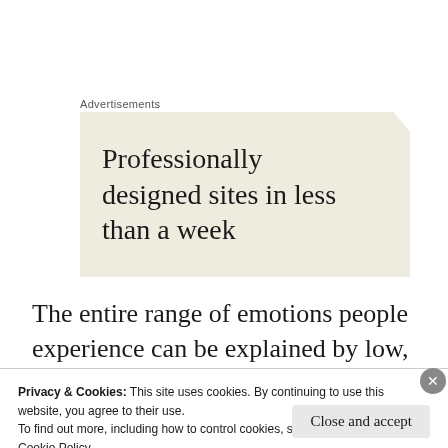Advertisements
[Figure (illustration): Advertisement banner with cream/beige background showing text: 'Professionally designed sites in less than a week']
The entire range of emotions people experience can be explained by low, medium
Privacy & Cookies: This site uses cookies. By continuing to use this website, you agree to their use.
To find out more, including how to control cookies, see here:
Cookie Policy
Close and accept